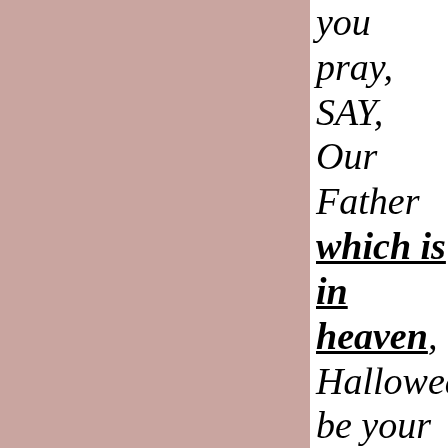[Figure (illustration): Large pink/mauve colored rectangular block occupying the left two-thirds of the page]
you pray, SAY, Our Father which is in heaven, Hallowed be your name. Your kin-